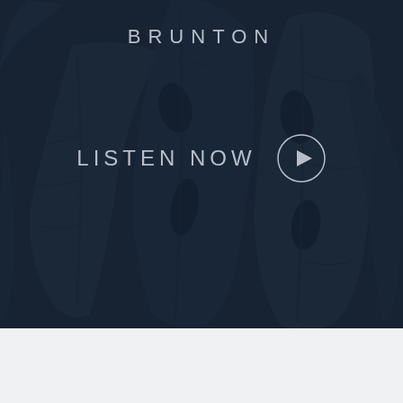[Figure (illustration): Dark navy background with overlapping tropical monstera leaf silhouettes in slightly lighter dark tones, creating a subtle botanical texture pattern.]
BRUNTON
LISTEN NOW ▶